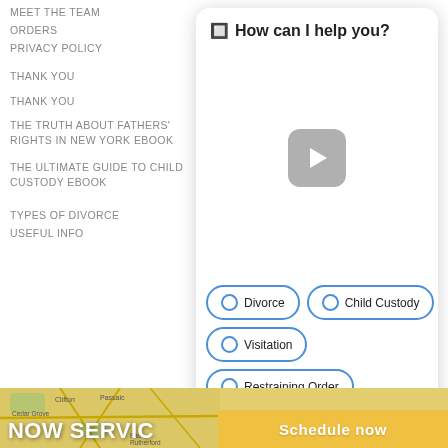MEET THE TEAM
ORDERS
PRIVACY POLICY
THANK YOU
THANK YOU
THE TRUTH ABOUT FATHERS' RIGHTS IN NEW YORK EBOOK
THE ULTIMATE GUIDE TO CHILD CUSTODY EBOOK
TYPES OF DIVORCE
USEFUL INFO
[Figure (screenshot): Chat widget with header 'How can I help you?', a video play button placeholder, and four radio-button options: Divorce, Child Custody, Visitation, Restraining Order. A 'Schedule Now' button appears at the bottom.]
[Figure (map): Map showing area around Clifton, Passaic, Cedar Grove, East Rutherford with road network in yellow/beige tones.]
NOW SERVIC
Schedule now